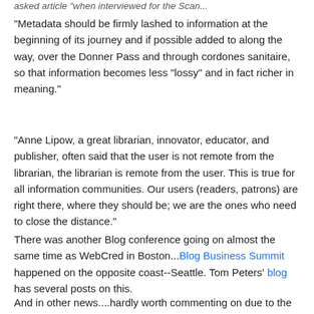asked article "when interviewed for the Scan...
"Metadata should be firmly lashed to information at the beginning of its journey and if possible added to along the way, over the Donner Pass and through cordones sanitaire, so that information becomes less "lossy" and in fact richer in meaning."
"Anne Lipow, a great librarian, innovator, educator, and publisher, often said that the user is not remote from the librarian, the librarian is remote from the user. This is true for all information communities. Our users (readers, patrons) are right there, where they should be; we are the ones who need to close the distance."
There was another Blog conference going on almost the same time as WebCred in Boston...Blog Business Summit happened on the opposite coast--Seattle. Tom Peters' blog has several posts on this.
And in other news....hardly worth commenting on due to the vast coverage but Google Video has debuted as a beta--just as was predicted a few short weeks ago, and which we...